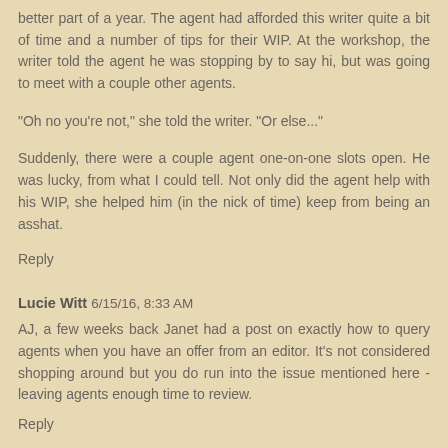better part of a year. The agent had afforded this writer quite a bit of time and a number of tips for their WIP. At the workshop, the writer told the agent he was stopping by to say hi, but was going to meet with a couple other agents.
"Oh no you're not," she told the writer. "Or else..."
Suddenly, there were a couple agent one-on-one slots open. He was lucky, from what I could tell. Not only did the agent help with his WIP, she helped him (in the nick of time) keep from being an asshat.
Reply
Lucie Witt  6/15/16, 8:33 AM
AJ, a few weeks back Janet had a post on exactly how to query agents when you have an offer from an editor. It's not considered shopping around but you do run into the issue mentioned here - leaving agents enough time to review.
Reply